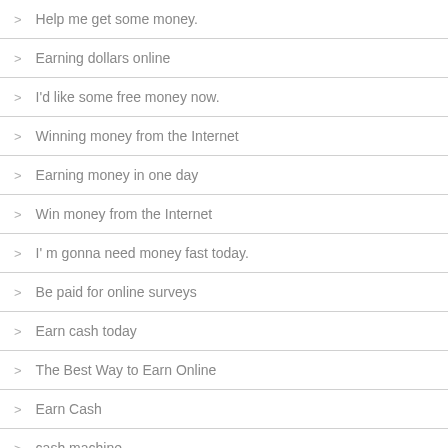Help me get some money.
Earning dollars online
I'd like some free money now.
Winning money from the Internet
Earning money in one day
Win money from the Internet
I' m gonna need money fast today.
Be paid for online surveys
Earn cash today
The Best Way to Earn Online
Earn Cash
cash machine
What do I do for a living?
Earning money online
Winning money fast
Opportunities to earn money on the Internet